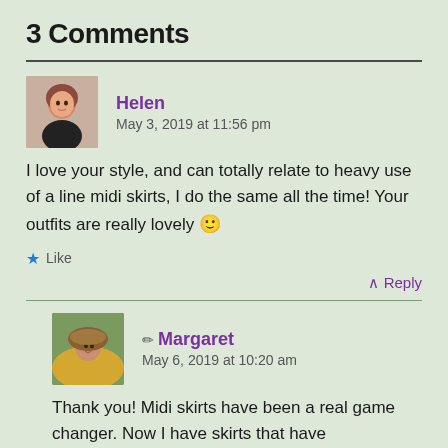3 Comments
Helen
May 3, 2019 at 11:56 pm
I love your style, and can totally relate to heavy use of a line midi skirts, I do the same all the time! Your outfits are really lovely 🙂
★ Like
↑ Reply
✏ Margaret
May 6, 2019 at 10:20 am
Thank you! Midi skirts have been a real game changer. Now I have skirts that have